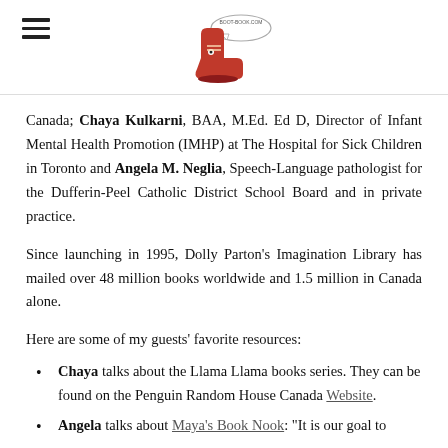[Logo: boot-book.com with boot illustration]
Canada; Chaya Kulkarni, BAA, M.Ed. Ed D, Director of Infant Mental Health Promotion (IMHP) at The Hospital for Sick Children in Toronto and Angela M. Neglia, Speech-Language pathologist for the Dufferin-Peel Catholic District School Board and in private practice.
Since launching in 1995, Dolly Parton's Imagination Library has mailed over 48 million books worldwide and 1.5 million in Canada alone.
Here are some of my guests' favorite resources:
Chaya talks about the Llama Llama books series. They can be found on the Penguin Random House Canada Website.
Angela talks about Maya's Book Nook: "It is our goal to